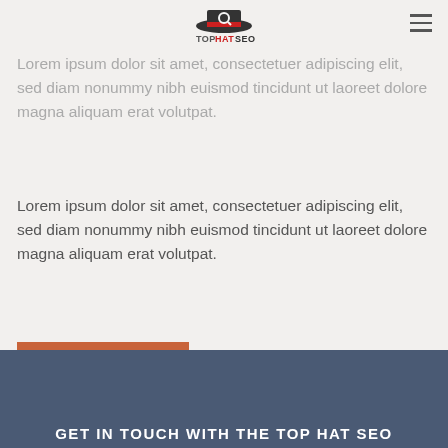TopHat SEO logo and hamburger menu navigation
Local or National SEO Services
Lorem ipsum dolor sit amet, consectetuer adipiscing elit, sed diam nonummy nibh euismod tincidunt ut laoreet dolore magna aliquam erat volutpat.
Lorem ipsum dolor sit amet, consectetuer adipiscing elit, sed diam nonummy nibh euismod tincidunt ut laoreet dolore magna aliquam erat volutpat.
GET A QUOTE
GET IN TOUCH WITH THE TOP HAT SEO